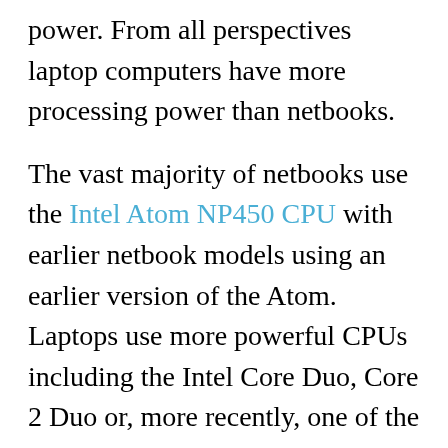power. From all perspectives laptop computers have more processing power than netbooks.
The vast majority of netbooks use the Intel Atom NP450 CPU with earlier netbook models using an earlier version of the Atom. Laptops use more powerful CPUs including the Intel Core Duo, Core 2 Duo or, more recently, one of the Intel i3, i5 or i7 CPUs. Ultra low voltage versions of some of these CPUs are also used in some ultra light laptops. Advanced Micro Devices (AMD) also produces CPUs that are commonly used in laptops including their Turion and Athlon CPU product lines.